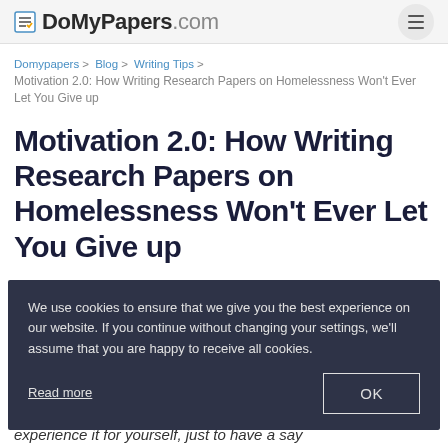DoMyPapers.com
Domypapers > Blog > Writing Tips > Motivation 2.0: How Writing Research Papers on Homelessness Won't Ever Let You Give up
Motivation 2.0: How Writing Research Papers on Homelessness Won't Ever Let You Give up
We use cookies to ensure that we give you the best experience on our website. If you continue without changing your settings, we'll assume that you are happy to receive all cookies.
Read more
OK
experience it for yourself, just to have a say